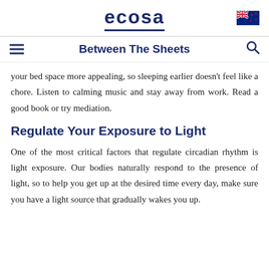ecosa
Between The Sheets
your bed space more appealing, so sleeping earlier doesn't feel like a chore. Listen to calming music and stay away from work. Read a good book or try mediation.
Regulate Your Exposure to Light
One of the most critical factors that regulate circadian rhythm is light exposure. Our bodies naturally respond to the presence of light, so to help you get up at the desired time every day, make sure you have a light source that gradually wakes you up.